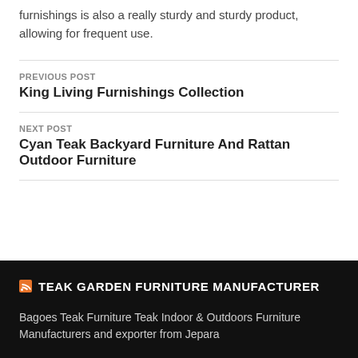furnishings is also a really sturdy and sturdy product, allowing for frequent use.
PREVIOUS POST
King Living Furnishings Collection
NEXT POST
Cyan Teak Backyard Furniture And Rattan Outdoor Furniture
TEAK GARDEN FURNITURE MANUFACTURER
Bagoes Teak Furniture Teak Indoor & Outdoors Furniture Manufacturers and exporter from Jepara